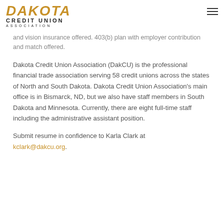DAKOTA CREDIT UNION ASSOCIATION
and vision insurance offered. 403(b) plan with employer contribution and match offered.
Dakota Credit Union Association (DakCU) is the professional financial trade association serving 58 credit unions across the states of North and South Dakota. Dakota Credit Union Association's main office is in Bismarck, ND, but we also have staff members in South Dakota and Minnesota. Currently, there are eight full-time staff including the administrative assistant position.
Submit resume in confidence to Karla Clark at kclark@dakcu.org.